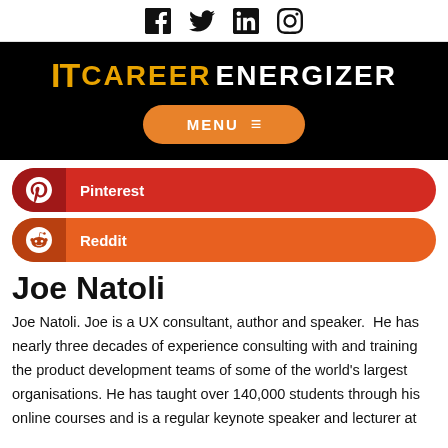[Figure (other): Social media icons: Facebook, Twitter, LinkedIn, Instagram]
[Figure (logo): IT Career Energizer logo on black background with orange MENU button]
[Figure (infographic): Pinterest share button (red)]
[Figure (infographic): Reddit share button (orange)]
Joe Natoli
Joe Natoli. Joe is a UX consultant, author and speaker.  He has nearly three decades of experience consulting with and training the product development teams of some of the world's largest organisations. He has taught over 140,000 students through his online courses and is a regular keynote speaker and lecturer at